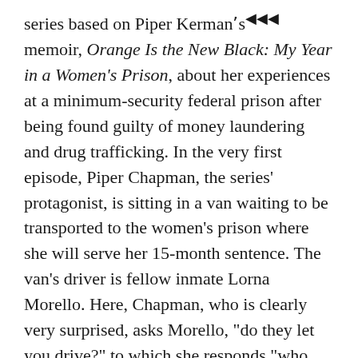series based on Piper Kerman's memoir, Orange Is the New Black: My Year in a Women's Prison, about her experiences at a minimum-security federal prison after being found guilty of money laundering and drug trafficking. In the very first episode, Piper Chapman, the series' protagonist, is sitting in a van waiting to be transported to the women's prison where she will serve her 15-month sentence. The van's driver is fellow inmate Lorna Morello. Here, Chapman, who is clearly very surprised, asks Morello, "do they let you drive?" to which she responds "who else is going to? We do everything here."
In theory, having prisoners work could be a good practice itself, as it prevents idleness, gives inmates a chance to earn money, and could even turn incarceration into an opportunity for job and social skills development. But the reality is quite